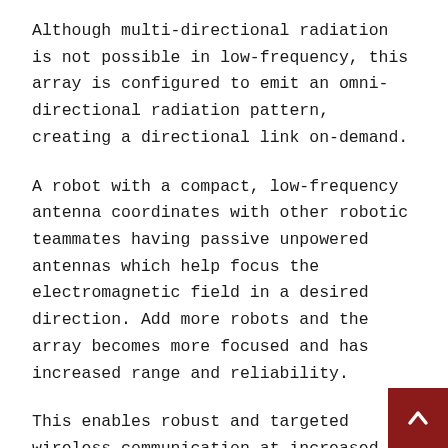Although multi-directional radiation is not possible in low-frequency, this array is configured to emit an omni-directional radiation pattern, creating a directional link on-demand.
A robot with a compact, low-frequency antenna coordinates with other robotic teammates having passive unpowered antennas which help focus the electromagnetic field in a desired direction. Add more robots and the array becomes more focused and has increased range and reliability.
This enables robust and targeted wireless communication at increased ranges through buildings, and in challenging urban and subterranean environments.